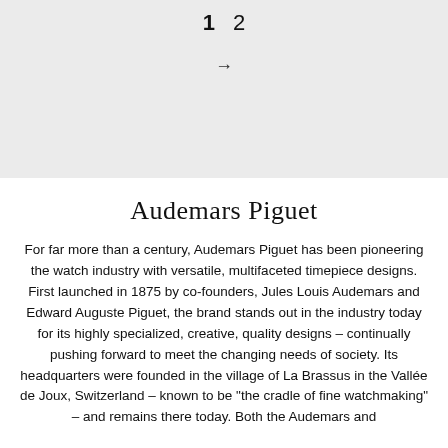1  2
→
Audemars Piguet
For far more than a century, Audemars Piguet has been pioneering the watch industry with versatile, multifaceted timepiece designs. First launched in 1875 by co-founders, Jules Louis Audemars and Edward Auguste Piguet, the brand stands out in the industry today for its highly specialized, creative, quality designs – continually pushing forward to meet the changing needs of society. Its headquarters were founded in the village of La Brassus in the Vallée de Joux, Switzerland – known to be "the cradle of fine watchmaking" – and remains there today. Both the Audemars and